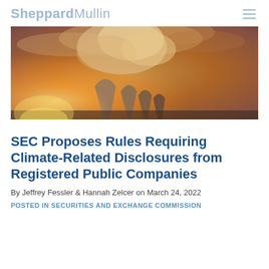SheppardMullin
[Figure (photo): Industrial cooling towers emitting steam against a dramatic orange and golden sky at sunset]
SEC Proposes Rules Requiring Climate-Related Disclosures from Registered Public Companies
By Jeffrey Fessler & Hannah Zelcer on March 24, 2022
POSTED IN SECURITIES AND EXCHANGE COMMISSION